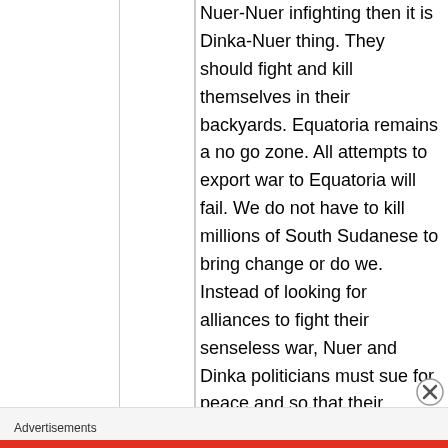Nuer-Nuer infighting then it is Dinka-Nuer thing. They should fight and kill themselves in their backyards. Equatoria remains a no go zone. All attempts to export war to Equatoria will fail. We do not have to kill millions of South Sudanese to bring change or do we. Instead of looking for alliances to fight their senseless war, Nuer and Dinka politicians must sue for peace and so that their people can live out their lives
Advertisements